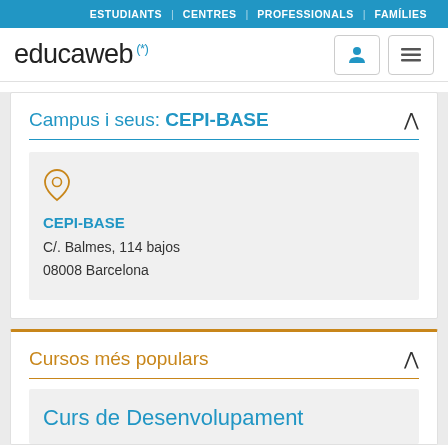ESTUDIANTS | CENTRES | PROFESSIONALS | FAMÍLIES
educaweb (*)
Campus i seus: CEPI-BASE
CEPI-BASE
C/. Balmes, 114 bajos
08008 Barcelona
Cursos més populars
Curs de Desenvolupament